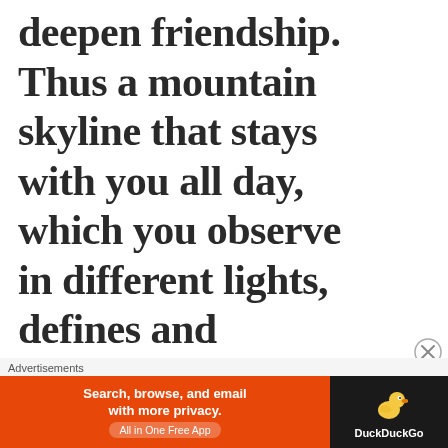deepen friendship. Thus a mountain skyline that stays with you all day, which you observe in different lights, defines and
Advertisements
[Figure (infographic): DuckDuckGo advertisement banner: orange background with text 'Search, browse, and email with more privacy. All in One Free App' and DuckDuckGo logo on dark right panel]